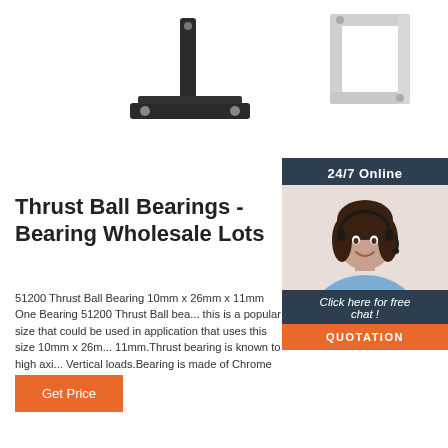[Figure (photo): Two metal brackets/stays - one dark/black and one light/silver colored, photographed against white background]
[Figure (photo): Customer service representative with headset, smiling, with '24/7 Online' header, 'Click here for free chat!' text, and 'QUOTATION' button overlay]
Thrust Ball Bearings - Bearing Wholesale Lots
51200 Thrust Ball Bearing 10mm x 26mm x 11mm One Bearing 51200 Thrust Ball bearing this is a popular size that could be used in application that uses this size 10mm x 26mm x 11mm.Thrust bearing is known to high axial Vertical loads.Bearing is made of Chrome Steel.
Get Price